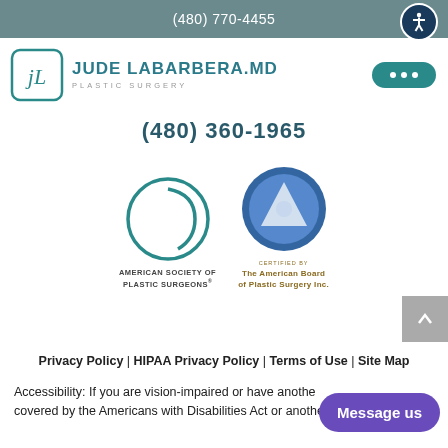(480) 770-4455
[Figure (logo): Jude LaBarbera MD Plastic Surgery logo with JL monogram icon]
(480) 360-1965
[Figure (logo): American Society of Plastic Surgeons circular logo]
[Figure (logo): Certified by The American Board of Plastic Surgery Inc. logo]
Privacy Policy | HIPAA Privacy Policy | Terms of Use | Site Map
Accessibility: If you are vision-impaired or have another disability covered by the Americans with Disabilities Act or another law and you wish